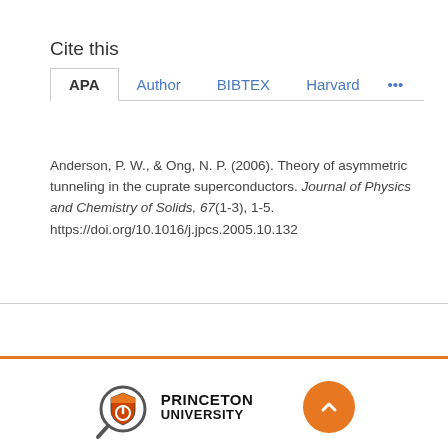Cite this
APA  Author  BIBTEX  Harvard  ...
Anderson, P. W., & Ong, N. P. (2006). Theory of asymmetric tunneling in the cuprate superconductors. Journal of Physics and Chemistry of Solids, 67(1-3), 1-5. https://doi.org/10.1016/j.jpcs.2005.10.132
[Figure (logo): Princeton University logo with magnifying glass icon and PRINCETON UNIVERSITY text]
[Figure (other): Orange circular back-to-top button with upward chevron arrow]